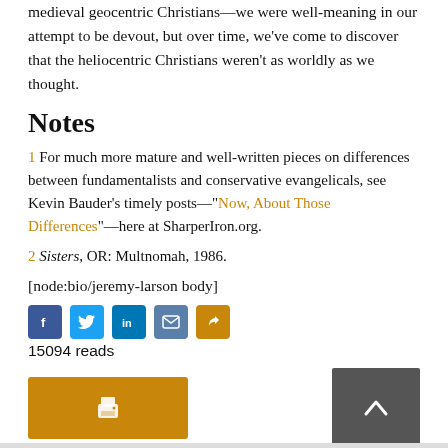medieval geocentric Christians—we were well-meaning in our attempt to be devout, but over time, we've come to discover that the heliocentric Christians weren't as worldly as we thought.
Notes
1 For much more mature and well-written pieces on differences between fundamentalists and conservative evangelicals, see Kevin Bauder's timely posts—"Now, About Those Differences"—here at SharperIron.org.
2 Sisters, OR: Multnomah, 1986.
[node:bio/jeremy-larson body]
[Figure (infographic): Social sharing icons: Facebook, Twitter, LinkedIn, Email, and an orange share icon]
15094 reads
[Figure (infographic): Print button (orange) on left and scroll-to-top button (dark gray with up arrow) on right]